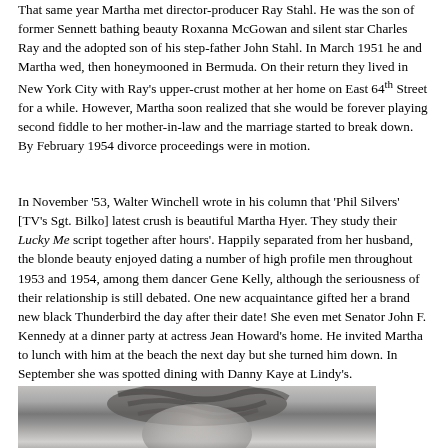That same year Martha met director-producer Ray Stahl. He was the son of former Sennett bathing beauty Roxanna McGowan and silent star Charles Ray and the adopted son of his step-father John Stahl. In March 1951 he and Martha wed, then honeymooned in Bermuda. On their return they lived in New York City with Ray's upper-crust mother at her home on East 64th Street for a while. However, Martha soon realized that she would be forever playing second fiddle to her mother-in-law and the marriage started to break down. By February 1954 divorce proceedings were in motion.
In November '53, Walter Winchell wrote in his column that 'Phil Silvers' [TV's Sgt. Bilko] latest crush is beautiful Martha Hyer. They study their Lucky Me script together after hours'. Happily separated from her husband, the blonde beauty enjoyed dating a number of high profile men throughout 1953 and 1954, among them dancer Gene Kelly, although the seriousness of their relationship is still debated. One new acquaintance gifted her a brand new black Thunderbird the day after their date! She even met Senator John F. Kennedy at a dinner party at actress Jean Howard's home. He invited Martha to lunch with him at the beach the next day but she turned him down. In September she was spotted dining with Danny Kaye at Lindy's.
[Figure (photo): Black and white photograph of a woman, partially visible at the bottom of the page, showing her hair and upper head area.]